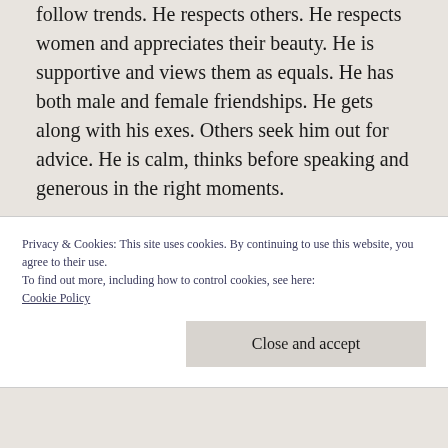follow trends. He respects others. He respects women and appreciates their beauty. He is supportive and views them as equals. He has both male and female friendships. He gets along with his exes. Others seek him out for advice. He is calm, thinks before speaking and generous in the right moments.
Dear nice guys finishing last: Read and learn more of what women want – https://aprilhunterblog.com/2014/09/06/chapt
Privacy & Cookies: This site uses cookies. By continuing to use this website, you agree to their use.
To find out more, including how to control cookies, see here: Cookie Policy
Close and accept